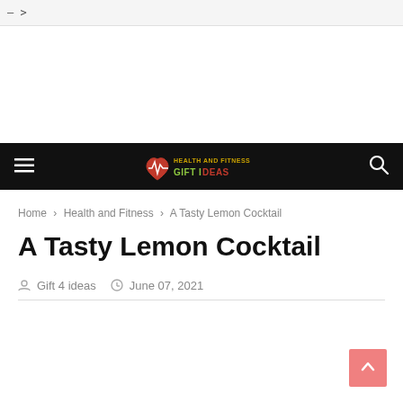— >
[Figure (logo): Health and Fitness Gift Ideas logo with heart and ECG line]
Home › Health and Fitness › A Tasty Lemon Cocktail
A Tasty Lemon Cocktail
Gift 4 ideas   June 07, 2021